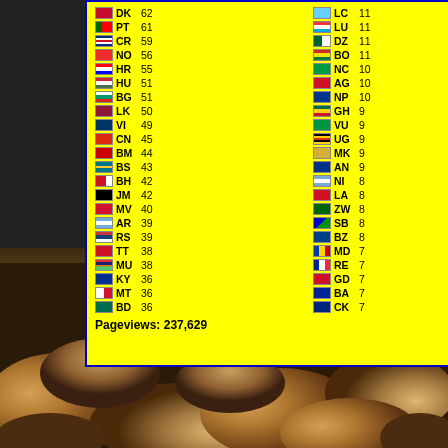[Figure (table-as-image): Flag Counter widget showing country codes and pageview counts on yellow background. Countries listed: DK 62, PT 61, CR 59, NO 56, HR 55, HU 51, BG 51, LK 50, VI 49, CN 45, BM 44, BS 43, BH 42, JM 42, MV 40, AR 39, RS 39, TT 38, MU 38, KY 36, MT 36, BD 36, LC 11, LU 11, DZ 11, BO 11, NC 10, AG 10, NP 10, GH 9, VU 9, UG 9, MK 9, AN 9, NI 8, LA 8, ZW 8, SB 8, BZ 8, MD 7, RE 7, GD 7, BA 7, CK 7, KN 2, BW 1, MW 1, BJ 1, AI 1, SH 1, HT 1, SO 1, GF 1, TC 1, GY 1, ML 1, VA 1, MR 1, RW 1, BF 1, GA 1, TG 1, TL 1, GM 1, SZ 1. Pageviews: 237,629]
[Figure (photo): Food photo background showing roasted/grilled chicken pieces with golden brown color]
Powered